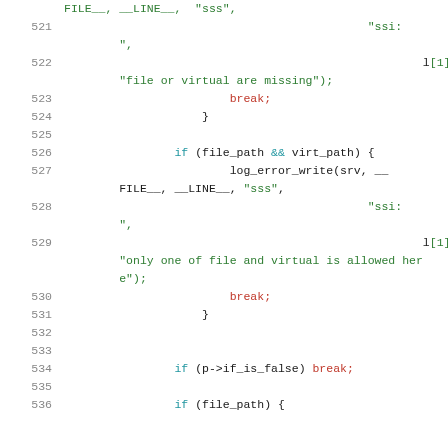Source code listing, lines 521-536, C code with syntax highlighting